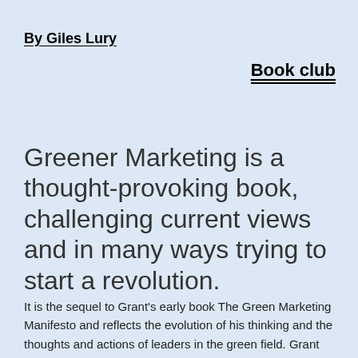By Giles Lury
Book club
Greener Marketing is a thought-provoking book, challenging current views and in many ways trying to start a revolution.
It is the sequel to Grant's early book The Green Marketing Manifesto and reflects the evolution of his thinking and the thoughts and actions of leaders in the green field. Grant prefers the Green label rather than